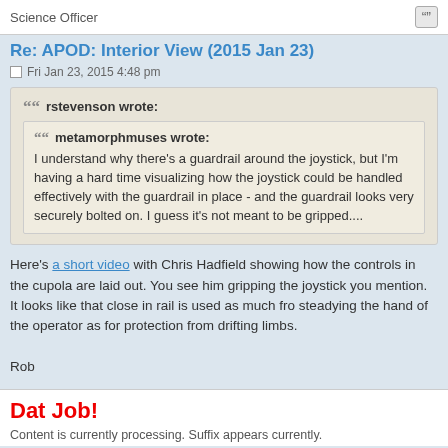Science Officer
Re: APOD: Interior View (2015 Jan 23)
Fri Jan 23, 2015 4:48 pm
rstevenson wrote:
metamorphmuses wrote:
I understand why there's a guardrail around the joystick, but I'm having a hard time visualizing how the joystick could be handled effectively with the guardrail in place - and the guardrail looks very securely bolted on. I guess it's not meant to be gripped....
Here's a short video with Chris Hadfield showing how the controls in the cupola are laid out. You see him gripping the joystick you mention. It looks like that close in rail is used as much fro steadying the hand of the operator as for protection from drifting limbs.

Rob
Dat Job!
Content is currently loading. Suffix appears currently.